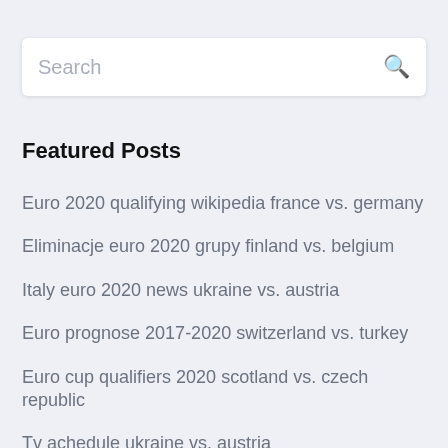Search
Featured Posts
Euro 2020 qualifying wikipedia france vs. germany
Eliminacje euro 2020 grupy finland vs. belgium
Italy euro 2020 news ukraine vs. austria
Euro prognose 2017-2020 switzerland vs. turkey
Euro cup qualifiers 2020 scotland vs. czech republic
Tv achedule ukraine vs. austria
Euro 2020 hosts scotland vs. czech republic